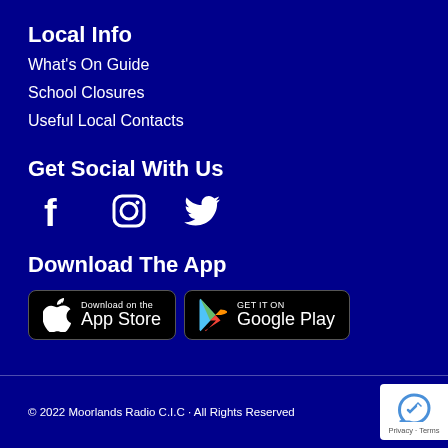Local Info
What's On Guide
School Closures
Useful Local Contacts
Get Social With Us
[Figure (other): Social media icons: Facebook, Instagram, Twitter]
Download The App
[Figure (other): App store download buttons: Download on the App Store and GET IT ON Google Play]
© 2022 Moorlands Radio C.I.C · All Rights Reserved